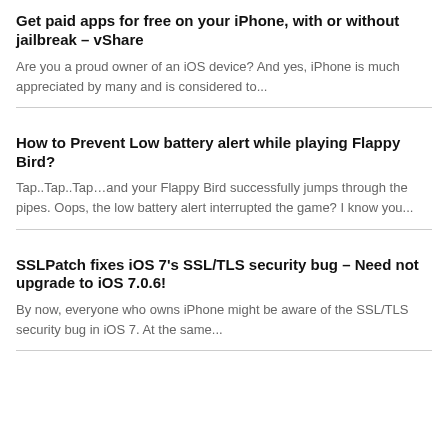Get paid apps for free on your iPhone, with or without jailbreak – vShare
Are you a proud owner of an iOS device? And yes, iPhone is much appreciated by many and is considered to...
How to Prevent Low battery alert while playing Flappy Bird?
Tap..Tap..Tap…and your Flappy Bird successfully jumps through the pipes. Oops, the low battery alert interrupted the game? I know you...
SSLPatch fixes iOS 7's SSL/TLS security bug – Need not upgrade to iOS 7.0.6!
By now, everyone who owns iPhone might be aware of the SSL/TLS security bug in iOS 7. At the same...